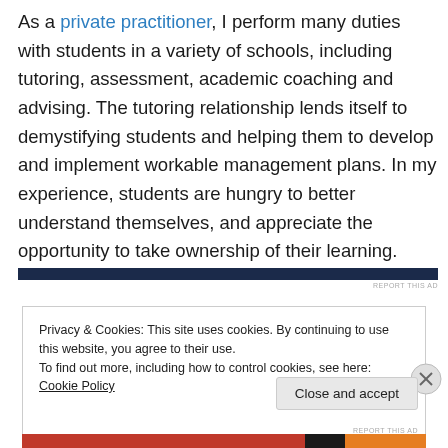As a private practitioner, I perform many duties with students in a variety of schools, including tutoring, assessment, academic coaching and advising. The tutoring relationship lends itself to demystifying students and helping them to develop and implement workable management plans. In my experience, students are hungry to better understand themselves, and appreciate the opportunity to take ownership of their learning.
[Figure (other): Dark navy blue horizontal advertisement bar with REPORT THIS AD text in grey beneath it]
Privacy & Cookies: This site uses cookies. By continuing to use this website, you agree to their use.
To find out more, including how to control cookies, see here: Cookie Policy
Close and accept